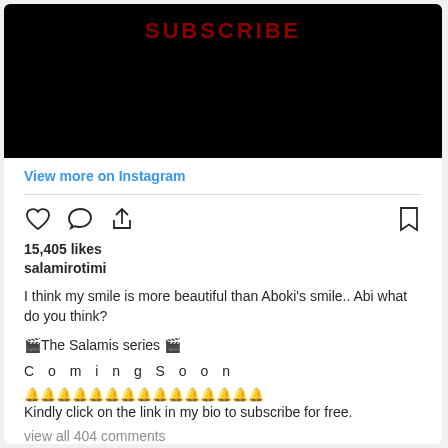[Figure (screenshot): Black video thumbnail with red SUBSCRIBE text at top]
View more on Instagram
15,405 likes
salamirotimi
I think my smile is more beautiful than Aboki's smile.. Abi what do you think?
🎬The Salamis series 🎬
C o m i n g S o o n
🔔🔔🔔🔔🔔🔔🔔🔔🔔🔔🔔🔔🔔🔔🔔 Kindly click on the link in my bio to subscribe for free.
view all 404 comments